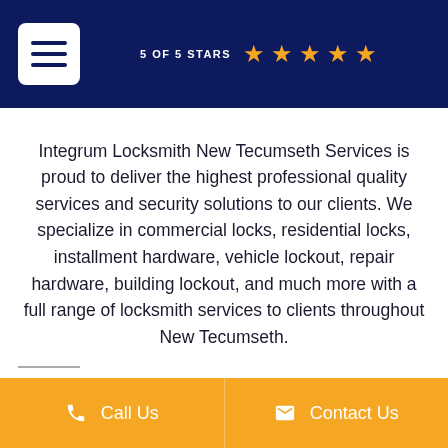5 OF 5 STARS ★★★★★
Integrum Locksmith New Tecumseth Services is proud to deliver the highest professional quality services and security solutions to our clients. We specialize in commercial locks, residential locks, installment hardware, vehicle lockout, repair hardware, building lockout, and much more with a full range of locksmith services to clients throughout New Tecumseth.
Call Us  |  Contact Us